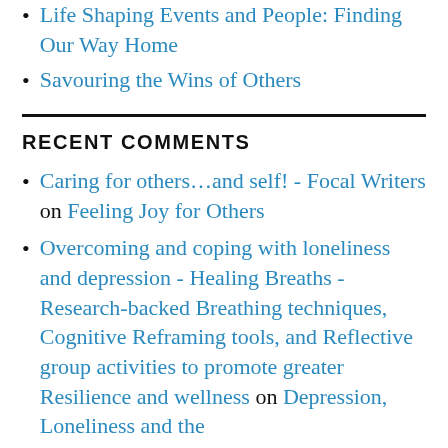Life Shaping Events and People: Finding Our Way Home
Savouring the Wins of Others
RECENT COMMENTS
Caring for others...and self! - Focal Writers on Feeling Joy for Others
Overcoming and coping with loneliness and depression - Healing Breaths - Research-backed Breathing techniques, Cognitive Reframing tools, and Reflective group activities to promote greater Resilience and wellness on Depression, Loneliness and the